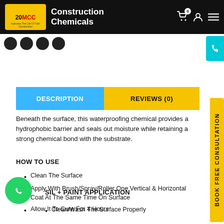Construction Chemicals
DESCRIPTION | REVIEWS (0)
Beneath the surface, this waterproofing chemical provides a hydrophobic barrier and seals out moisture while retaining a strong chemical bond with the substrate.
HOW TO USE
Clean The Surface
Apply With Brush/Spray/Roller One Vertical & Horizontal Coat At The Same Time On Surface
Allow It To Cure For 4 Hours
SIL + PAINT APPLICATION
Clean/Wash The Surface Properly